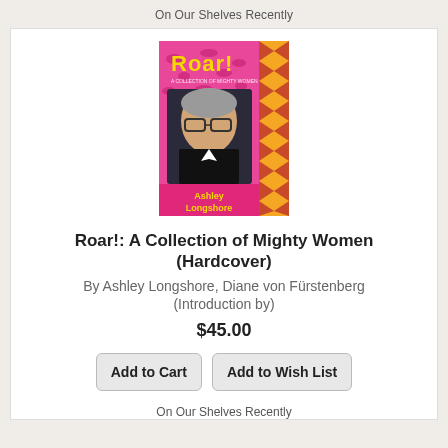On Our Shelves Recently
[Figure (illustration): Book cover of 'Roar! A Collection of Mighty Women' by Ashley Longshore. Pink background with yellow leopard print, portrait of a woman with glasses, bold yellow title text 'Roar!' and author name 'Ashley Longshore' at bottom.]
Roar!: A Collection of Mighty Women (Hardcover)
By Ashley Longshore, Diane von Fürstenberg (Introduction by)
$45.00
Add to Cart
Add to Wish List
On Our Shelves Recently